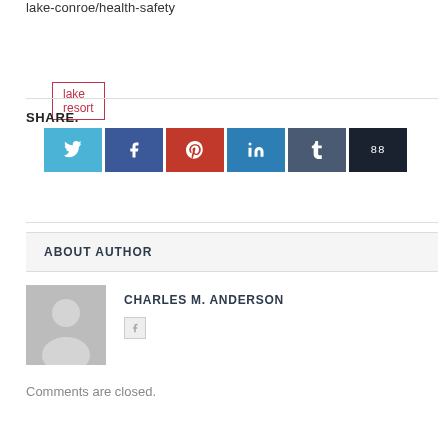lake-conroe/health-safety
lake resort
SHARE.
[Figure (other): Row of 6 social share buttons: Twitter (light blue), Facebook (dark blue), Pinterest (red), LinkedIn (steel blue), Tumblr (slate), More/88 (dark navy)]
ABOUT AUTHOR
[Figure (illustration): Generic grey avatar placeholder image showing a person silhouette]
CHARLES M. ANDERSON
Comments are closed.